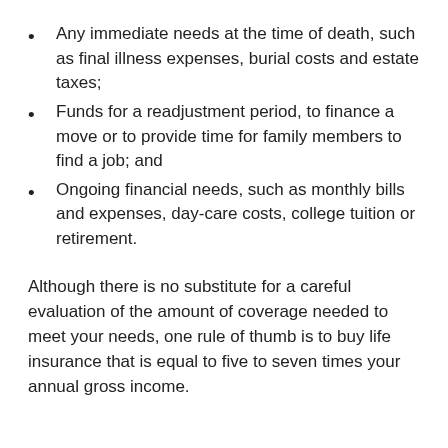Any immediate needs at the time of death, such as final illness expenses, burial costs and estate taxes;
Funds for a readjustment period, to finance a move or to provide time for family members to find a job; and
Ongoing financial needs, such as monthly bills and expenses, day-care costs, college tuition or retirement.
Although there is no substitute for a careful evaluation of the amount of coverage needed to meet your needs, one rule of thumb is to buy life insurance that is equal to five to seven times your annual gross income.